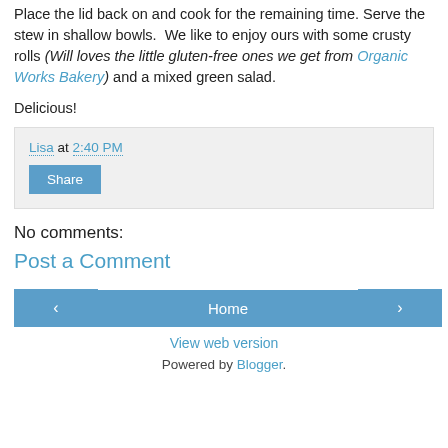Place the lid back on and cook for the remaining time. Serve the stew in shallow bowls.  We like to enjoy ours with some crusty rolls (Will loves the little gluten-free ones we get from Organic Works Bakery) and a mixed green salad.

Delicious!
Lisa at 2:40 PM
Share
No comments:
Post a Comment
< Home > View web version Powered by Blogger.